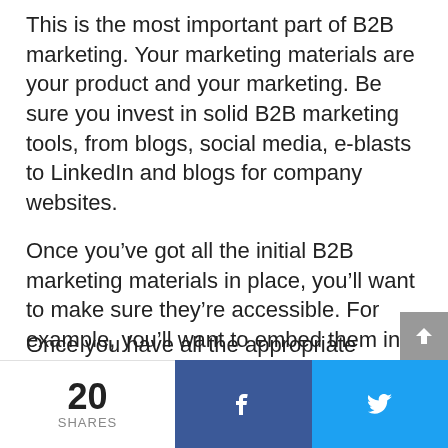This is the most important part of B2B marketing. Your marketing materials are your product and your marketing. Be sure you invest in solid B2B marketing tools, from blogs, social media, e-blasts to LinkedIn and blogs for company websites.
Once you've got all the initial B2B marketing materials in place, you'll want to make sure they're accessible. For example, you'll want to embed them into your company's website for easy access for potential customers. You may also want to provide tools to potential customers who are interested in your products or services.
Once you have all the appropriate materials, it's time...
20 SHARES